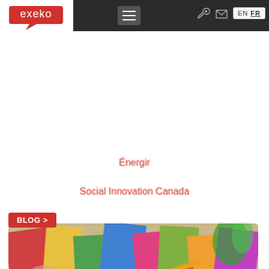exeko — Navigation header with hamburger menu, tools, mail icons, EN FR language switcher
Énergir
Social Innovation Canada
[Figure (screenshot): Blog card with red BLOG > tag, photo of books and school supplies on a table viewed from above, followed by article title and excerpt]
Appel à candidature - Responsable, Richesses humaines et logistique
Dans ce rôle, ta mission principale est de veiller sur la saine gestion des processus entourant le...